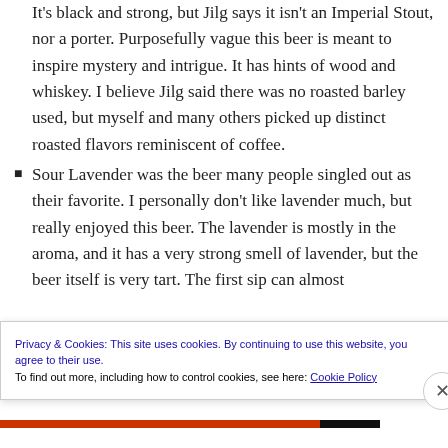It's black and strong, but Jilg says it isn't an Imperial Stout, nor a porter. Purposefully vague this beer is meant to inspire mystery and intrigue. It has hints of wood and whiskey. I believe Jilg said there was no roasted barley used, but myself and many others picked up distinct roasted flavors reminiscent of coffee.
Sour Lavender was the beer many people singled out as their favorite. I personally don't like lavender much, but really enjoyed this beer. The lavender is mostly in the aroma, and it has a very strong smell of lavender, but the beer itself is very tart. The first sip can almost
Privacy & Cookies: This site uses cookies. By continuing to use this website, you agree to their use. To find out more, including how to control cookies, see here: Cookie Policy